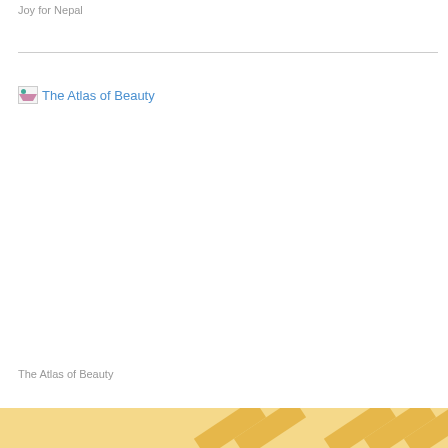Joy for Nepal
The Atlas of Beauty
The Atlas of Beauty
[Figure (other): Footer bar with golden/yellow diagonal stripe decoration]